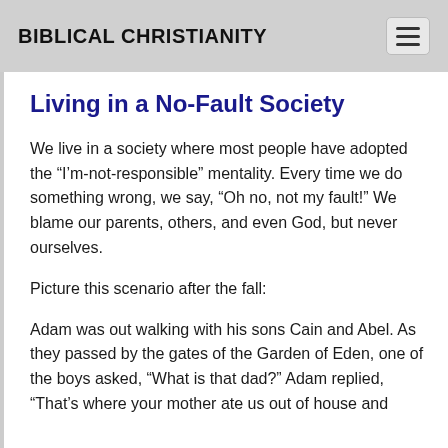BIBLICAL CHRISTIANITY
Living in a No-Fault Society
We live in a society where most people have adopted the “I’m-not-responsible” mentality. Every time we do something wrong, we say, “Oh no, not my fault!” We blame our parents, others, and even God, but never ourselves.
Picture this scenario after the fall:
Adam was out walking with his sons Cain and Abel. As they passed by the gates of the Garden of Eden, one of the boys asked, “What is that dad?” Adam replied, “That’s where your mother ate us out of house and